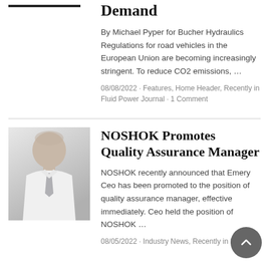Demand
By Michael Pyper for Bucher Hydraulics Regulations for road vehicles in the European Union are becoming increasingly stringent. To reduce CO2 emissions, …
08/08/2022 · Features, Home Header, Recently in Fluid Power Journal · 1 Comment
[Figure (photo): Headshot photo of a bald man in a white shirt and tie, gray/white background]
NOSHOK Promotes Quality Assurance Manager
NOSHOK recently announced that Emery Ceo has been promoted to the position of quality assurance manager, effective immediately. Ceo held the position of NOSHOK …
08/05/2022 · Industry News, Recently in Fluid